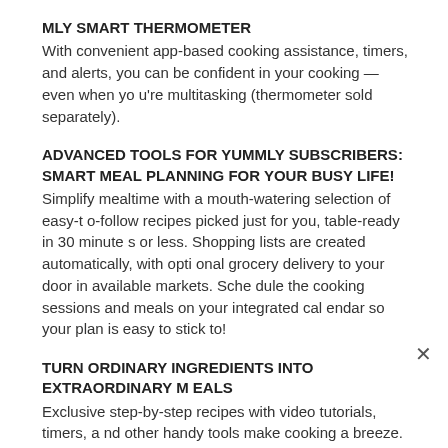MLY SMART THERMOMETER
With convenient app-based cooking assistance, timers, and alerts, you can be confident in your cooking — even when you're multitasking (thermometer sold separately).
ADVANCED TOOLS FOR YUMMLY SUBSCRIBERS:
SMART MEAL PLANNING FOR YOUR BUSY LIFE!
Simplify mealtime with a mouth-watering selection of easy-to-follow recipes picked just for you, table-ready in 30 minutes or less. Shopping lists are created automatically, with optional grocery delivery to your door in available markets. Schedule the cooking sessions and meals on your integrated calendar so your plan is easy to stick to!
TURN ORDINARY INGREDIENTS INTO EXTRAORDINARY MEALS
Exclusive step-by-step recipes with video tutorials, timers, and other handy tools make cooking a breeze. With recipes d